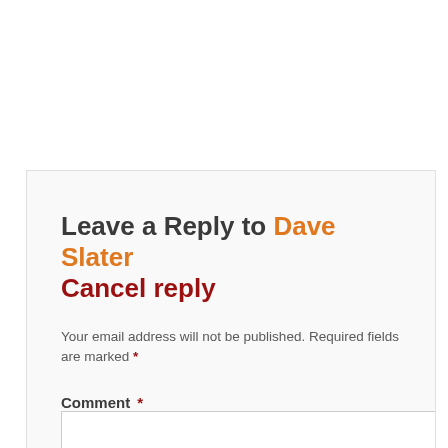Leave a Reply to Dave Slater Cancel reply
Your email address will not be published. Required fields are marked *
Comment *